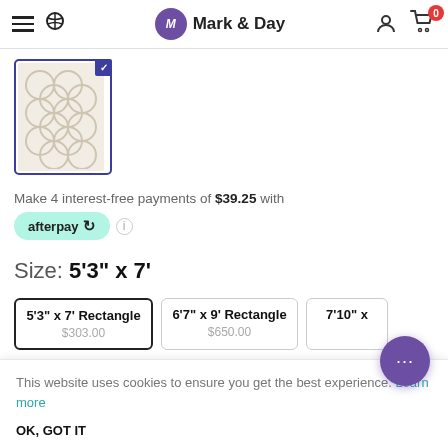Mark & Day
[Figure (photo): Rug thumbnail with geometric circle pattern in beige/cream tones, selected with blue border and checkmark]
Make 4 interest-free payments of $39.25 with afterpay
Size: 5'3" x 7'
5'3" x 7' Rectangle $303.00
6'7" x 9' Rectangle $650.00
7'10" x ...
This website uses cookies to ensure you get the best experience. Learn more
OK, GOT IT